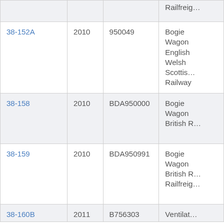| Model | Year | Number | Description |
| --- | --- | --- | --- |
| (partial top row) |  |  | Railfreig… |
| 38-152A | 2010 | 950049 | Bogie Wagon English Welsh Scottish Railway |
| 38-158 | 2010 | BDA950000 | Bogie Wagon British R… |
| 38-159 | 2010 | BDA950991 | Bogie Wagon British R… Railfreig… |
| 38-160B | 2011 | B756303 | Ventilat… |